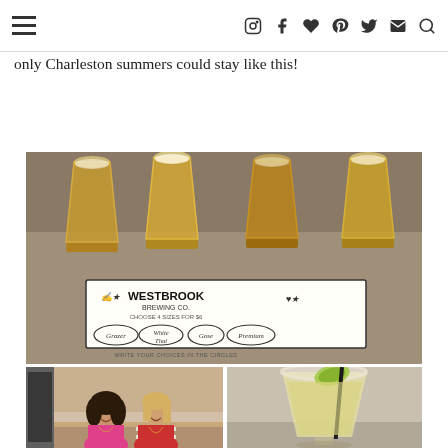Navigation bar with hamburger menu and social icons
Charleston, and then headed to Shem Creek for cocktails on the water. It was such a perfect day, not too hot and with a breeze. If only Charleston summers could stay like this!
[Figure (photo): Four glasses of beer on a table with a Westbrook Brewing Co. tasting card showing options: Grazer, White Thai, Gose, Premium. Card reads: CHOOSE 4 SIZES FOR $6, WRITE YOUR CHOICES IN THE CIRCLES.]
[Figure (photo): Two women smiling inside a brewery taproom — one in a hot pink shirt, one in a red and white striped top.]
[Figure (photo): A margarita cocktail with a salted rim, lime garnish, and a black straw.]